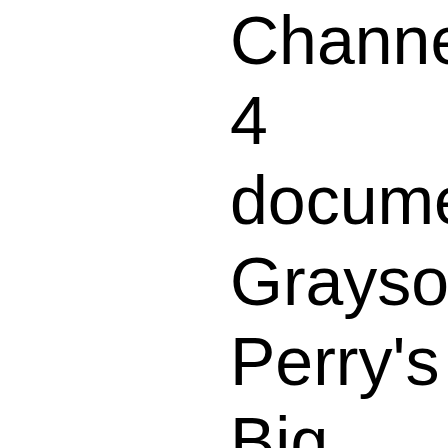Channel 4 documentary Grayson Perry's Big American Trip which premiered September at 10pm see Grayson Perry travel United States of America custom Harley-Davidson motorcycle, in an attempt the meaning of the A... Documented...